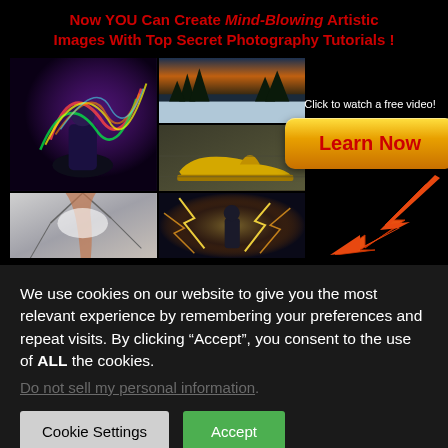Now YOU Can Create Mind-Blowing Artistic Images With Top Secret Photography Tutorials !
[Figure (photo): Photography tutorial advertisement with a grid of 5 artistic photos: a person doing light painting with colorful trails, a dramatic winter landscape, a gold high-heel shoe, a hand breaking through glass/water, and a person surrounded by lightning effects. Includes a golden 'Learn Now' button and an orange arrow pointing to it.]
Click to watch a free video!
We use cookies on our website to give you the most relevant experience by remembering your preferences and repeat visits. By clicking “Accept”, you consent to the use of ALL the cookies.
Do not sell my personal information.